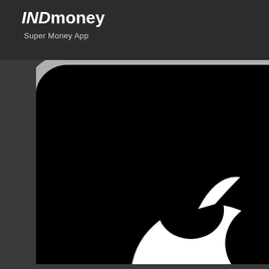[Figure (logo): INDmoney Super Money App logo with white text on dark background]
[Figure (illustration): Close-up of a device (MacBook or Apple device) with silver rounded corner frame on dark background, with partial Apple logo (white apple shape) visible at bottom right on black screen surface]